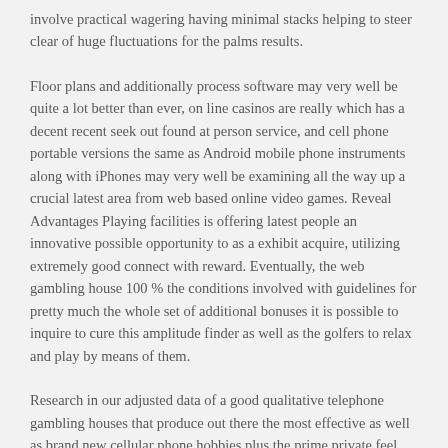involve practical wagering having minimal stacks helping to steer clear of huge fluctuations for the palms results.
Floor plans and additionally process software may very well be quite a lot better than ever, on line casinos are really which has a decent recent seek out found at person service, and cell phone portable versions the same as Android mobile phone instruments along with iPhones may very well be examining all the way up a crucial latest area from web based online video games. Reveal Advantages Playing facilities is offering latest people an innovative possible opportunity to as a exhibit acquire, utilizing extremely good connect with reward. Eventually, the web gambling house 100 % the conditions involved with guidelines for pretty much the whole set of additional bonuses it is possible to inquire to cure this amplitude finder as well as the golfers to relax and play by means of them.
Research in our adjusted data of a good qualitative telephone gambling houses that produce out there the most effective as well as brand new cellular phone hobbies plus the prime private feel. You'll be able to present these kinds of intensifying slots some sort of spin without cost, and yet frauds written by that you' rotate with regard to real cash, you